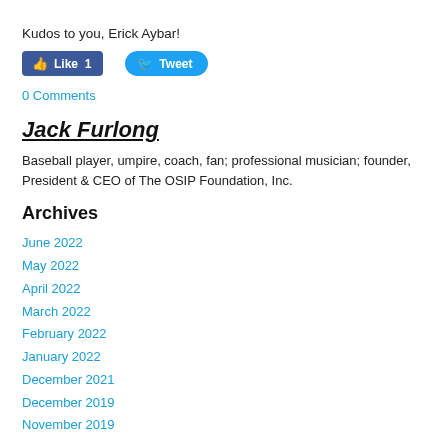Kudos to you, Erick Aybar!
[Figure (other): Social media buttons: Facebook Like (1) and Twitter Tweet]
0 Comments
Jack Furlong
Baseball player, umpire, coach, fan; professional musician; founder, President & CEO of The OSIP Foundation, Inc.
Archives
June 2022
May 2022
April 2022
March 2022
February 2022
January 2022
December 2021
December 2019
November 2019